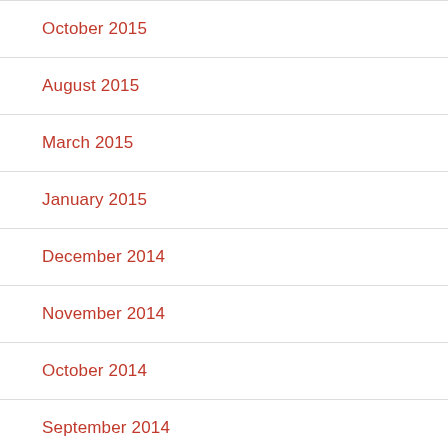October 2015
August 2015
March 2015
January 2015
December 2014
November 2014
October 2014
September 2014
August 2014
July 2014